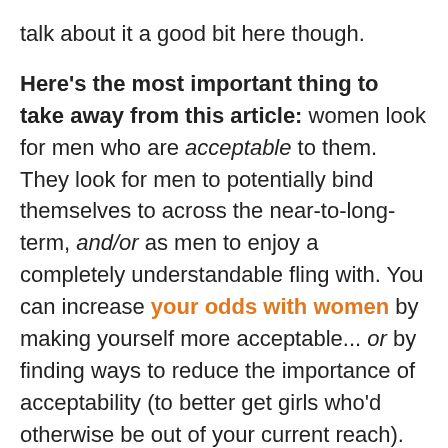talk about it a good bit here though.
Here's the most important thing to take away from this article: women look for men who are acceptable to them. They look for men to potentially bind themselves to across the near-to-long-term, and/or as men to enjoy a completely understandable fling with. You can increase your odds with women by making yourself more acceptable... or by finding ways to reduce the importance of acceptability (to better get girls who'd otherwise be out of your current reach).
The less acceptable you are, the harder and more frustrating everything with women is. The